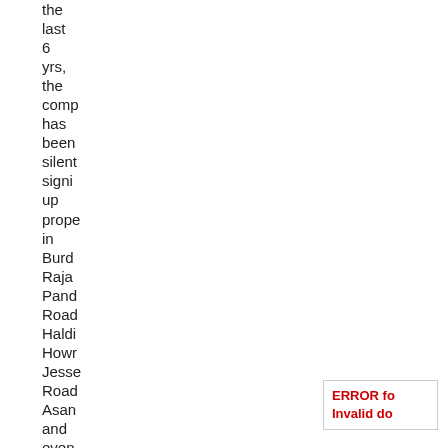the last 6 yrs, the comp has been silent signi up prope in Burd Raja Pand Road Haldi Howr Jesse Road Asan and even Silig to throu
ERROR fo Invalid do